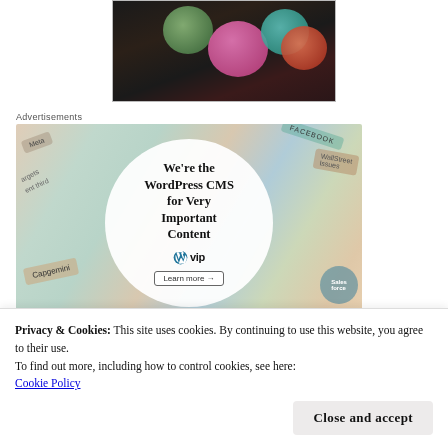[Figure (photo): Colorful yarn balls on dark background, partially cropped at top of page]
Advertisements
[Figure (infographic): WordPress VIP advertisement banner. Background shows various brand cards (Meta, Facebook, Capgemini, Salesforce, etc.). Center white circle reads: 'We're the WordPress CMS for Very Important Content' with WordPress VIP logo and 'Learn more' button.]
Privacy & Cookies: This site uses cookies. By continuing to use this website, you agree to their use.
To find out more, including how to control cookies, see here:
Cookie Policy
Close and accept